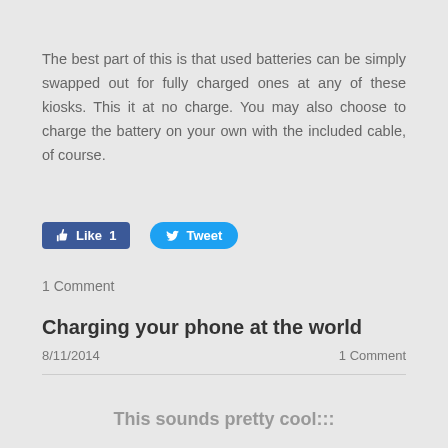The best part of this is that used batteries can be simply swapped out for fully charged ones at any of these kiosks. This it at no charge. You may also choose to charge the battery on your own with the included cable, of course.
[Figure (screenshot): Facebook Like button showing 'Like 1' count and Twitter Tweet button]
1 Comment
Charging your phone at the world
8/11/2014   1 Comment
This sounds pretty cool:::